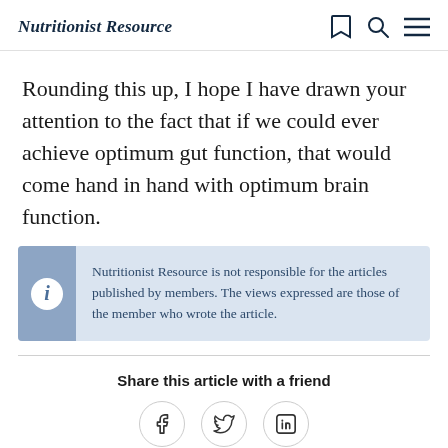Nutritionist Resource
Rounding this up, I hope I have drawn your attention to the fact that if we could ever achieve optimum gut function, that would come hand in hand with optimum brain function.
Nutritionist Resource is not responsible for the articles published by members. The views expressed are those of the member who wrote the article.
Share this article with a friend